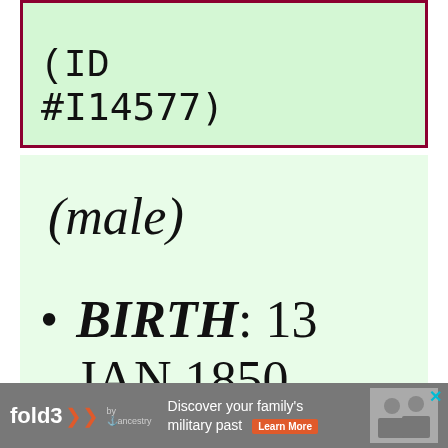(ID #I14577)
(male)
BIRTH: 13 JAN 1850,
[Figure (other): Advertisement banner for fold3 by Ancestry: 'Discover your family's military past' with Learn More button and historical photo]